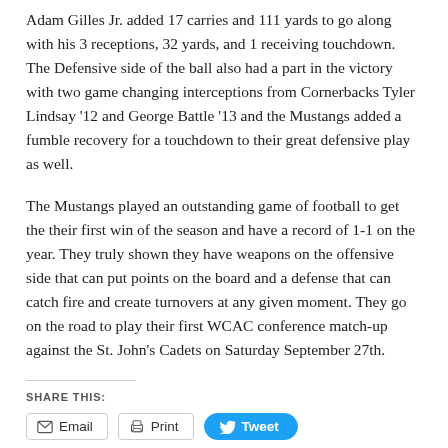Adam Gilles Jr. added 17 carries and 111 yards to go along with his 3 receptions, 32 yards, and 1 receiving touchdown. The Defensive side of the ball also had a part in the victory with two game changing interceptions from Cornerbacks Tyler Lindsay '12 and George Battle '13 and the Mustangs added a fumble recovery for a touchdown to their great defensive play as well.
The Mustangs played an outstanding game of football to get the their first win of the season and have a record of 1-1 on the year. They truly shown they have weapons on the offensive side that can put points on the board and a defense that can catch fire and create turnovers at any given moment. They go on the road to play their first WCAC conference match-up against the St. John's Cadets on Saturday September 27th.
SHARE THIS:
Email | Print | Tweet